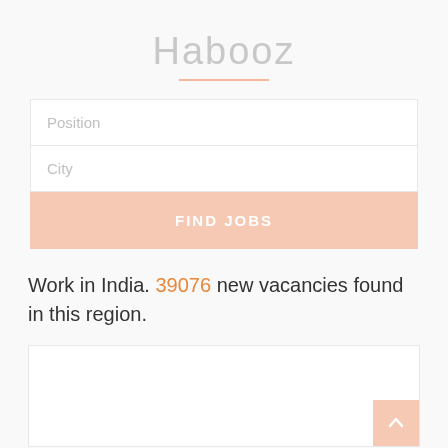Habooz
Position
City
FIND JOBS
Work in India. 39076 new vacancies found in this region.